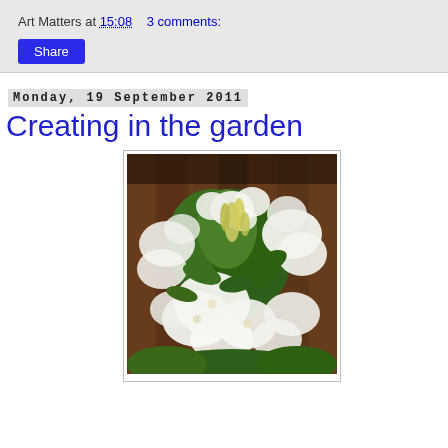Art Matters at 15:08    3 comments:
Share
Monday, 19 September 2011
Creating in the garden
[Figure (photo): Close-up photograph of white azalea flowers in bloom with green leaves and buds, against a wooden fence background]